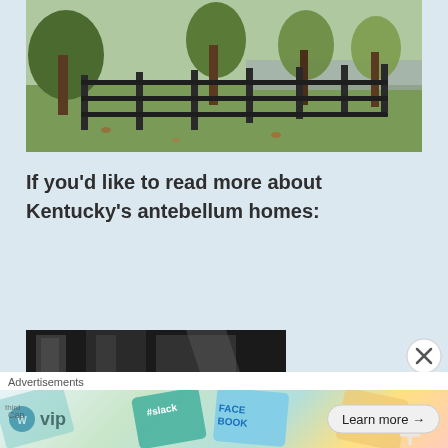[Figure (photo): Outdoor scene with a black wooden fence running diagonally, green lawn in the foreground, and large trees with fall foliage in the background. A road is visible in the distance.]
If you'd like to read more about Kentucky's antebellum homes:
[Figure (photo): Partial black and white photo, appears to show architectural or door details.]
Advertisements
[Figure (screenshot): Advertisement banner featuring WordPress VIP logo, colorful overlapping cards/tags (slack, Facebook, etc.), and a 'Learn more' button.]